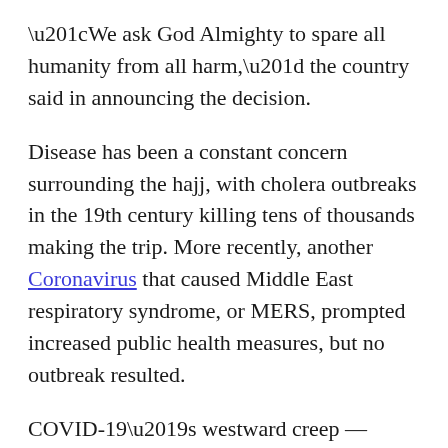“We ask God Almighty to spare all humanity from all harm,” the country said in announcing the decision.
Disease has been a constant concern surrounding the hajj, with cholera outbreaks in the 19th century killing tens of thousands making the trip. More recently, another Coronavirus that caused Middle East respiratory syndrome, or MERS, prompted increased public health measures, but no outbreak resulted.
COVID-19’s westward creep — including a case in California in the United States that does not appear linked to overseas travel — had some countries warning their people to obey measures intended to keep a single case from blossoming into a cluster that could paralyze a community.
A case originally from Wuhan, the Chinese city at the